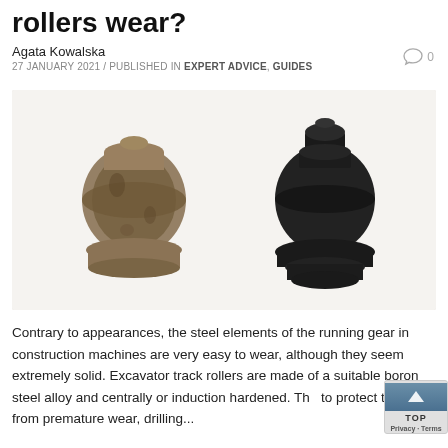rollers wear?
Agata Kowalska
27 JANUARY 2021 / PUBLISHED IN EXPERT ADVICE, GUIDES
[Figure (photo): Photo showing two excavator track rollers side by side — one heavily worn and corroded (left, brownish/rusty), and one new (right, black)]
Contrary to appearances, the steel elements of the running gear in construction machines are very easy to wear, although they seem extremely solid. Excavator track rollers are made of a suitable boron steel alloy and centrally or induction hardened. Th... to protect them from premature wear, drilling...